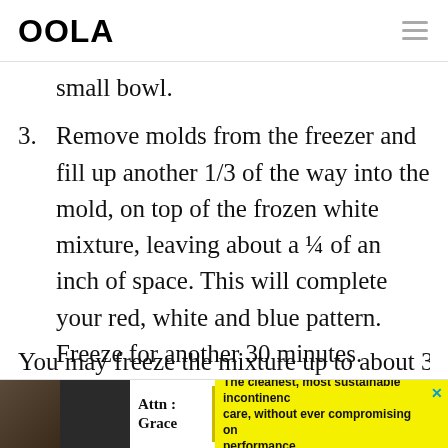OOLA
small bowl.
3. Remove molds from the freezer and fill up another 1/3 of the way into the mold, on top of the frozen white mixture, leaving about a ¼ of an inch of space. This will complete your red, white and blue pattern. Freeze for another 30 minutes.
You may freeze the mixture up to about 3
[Figure (infographic): Advertisement banner at bottom: Attn: Grace incontinence care product ad with yellow background and close button]